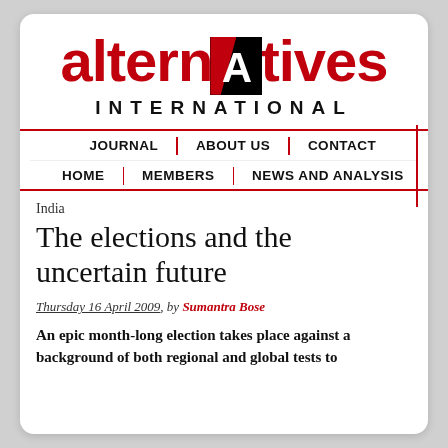[Figure (logo): Alternatives International logo with red and black stylized text]
JOURNAL | ABOUT US | CONTACT | HOME | MEMBERS | NEWS AND ANALYSIS
India
The elections and the uncertain future
Thursday 16 April 2009, by Sumantra Bose
An epic month-long election takes place against a background of both regional and global tests to